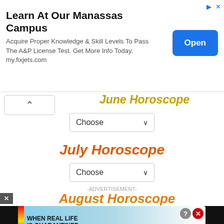[Figure (screenshot): Advertisement banner: 'Learn At Our Manassas Campus' with Open button]
June Horoscope
[Figure (screenshot): Choose dropdown for June Horoscope]
July Horoscope
[Figure (screenshot): Choose dropdown for July Horoscope]
-ADVERTISEMENT-
August Horoscope
[Figure (screenshot): Video overlay: How To Open 7 Chakras - Meditation and Healing - SunSigns.Org]
[Figure (screenshot): Bottom ad: WHEN REAL LIFE IS QUARANTINED - BitLife]